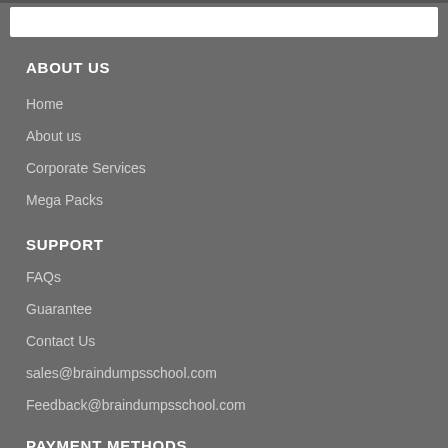[Figure (other): White search/input bar at top of page]
ABOUT US
Home
About us
Corporate Services
Mega Packs
SUPPORT
FAQs
Guarantee
Contact Us
sales@braindumpsschool.com
Feedback@braindumpsschool.com
PAYMENT METHODS